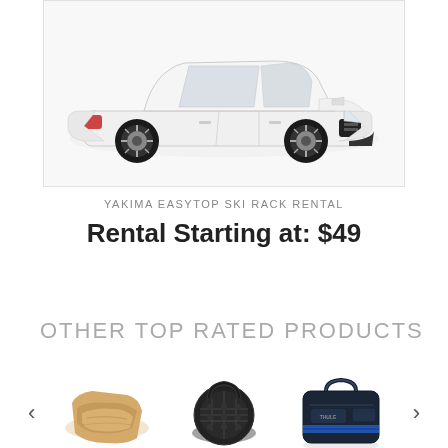[Figure (photo): White sedan car (Honda Civic style) photographed from front-left angle on white background, shown inside a light gray bordered box]
YAKIMA EASYTOP SKI RACK RENTAL
Rental Starting at: $49
OTHER TOP RATED PRODUCTS
[Figure (photo): Beige/tan folded fabric or mat product thumbnail]
[Figure (photo): Black circular/basket-shaped accessory product thumbnail]
[Figure (photo): Dark navy/black bag with blue accent stripe product thumbnail]